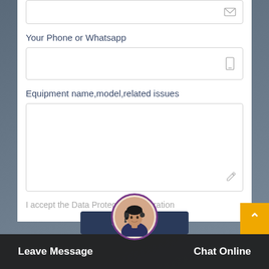[Figure (screenshot): Email input field (partially visible at top) with envelope icon on right]
Your Phone or Whatsapp
[Figure (screenshot): Phone/Whatsapp input field with mobile phone icon on right]
Equipment name,model,related issues
[Figure (screenshot): Large multiline text area with pencil/edit icon at bottom right]
I accept the Data Protection Declaration
[Figure (screenshot): Bottom navigation bar with 'Leave Message' on left, 'SEND NOW' button in center (partially visible), circular avatar of woman with headset, 'Chat Online' on right, and orange scroll-to-top button]